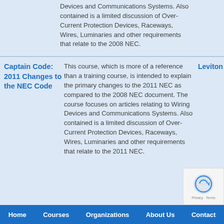Devices and Communications Systems. Also contained is a limited discussion of Over-Current Protection Devices, Raceways, Wires, Luminaries and other requirements that relate to the 2008 NEC.
Captain Code: 2011 Changes to the NEC Code
This course, which is more of a reference than a training course, is intended to explain the primary changes to the 2011 NEC as compared to the 2008 NEC document. The course focuses on articles relating to Wiring Devices and Communications Systems. Also contained is a limited discussion of Over-Current Protection Devices, Raceways, Wires, Luminaries and other requirements that relate to the 2011 NEC.
Leviton
Home   Courses   Organizations   About Us   Contact